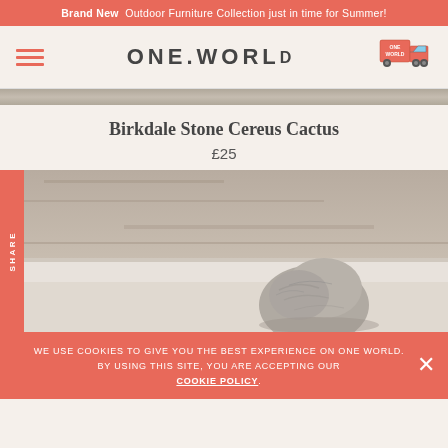Brand New  Outdoor Furniture Collection just in time for Summer!
ONE.WORLD
[Figure (logo): One World delivery truck logo icon in orange/red]
[Figure (photo): Stone Cereus Cactus decorative stone sculpture against a concrete wall backdrop, gray tones]
Birkdale Stone Cereus Cactus
£25
WE USE COOKIES TO GIVE YOU THE BEST EXPERIENCE ON ONE WORLD. BY USING THIS SITE, YOU ARE ACCEPTING OUR COOKIE POLICY.